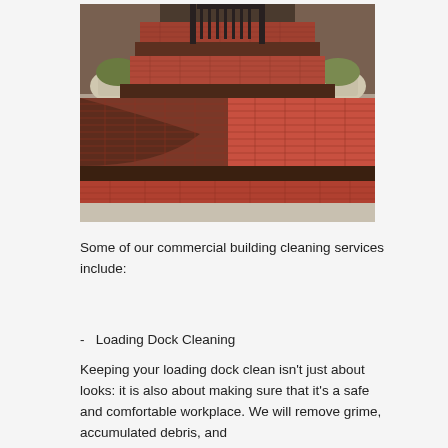[Figure (photo): Brick steps with half cleaned / half dirty showing before-after pressure washing effect. Flower pots on either side, iron railings visible at top.]
Some of our commercial building cleaning services include:
-   Loading Dock Cleaning
Keeping your loading dock clean isn't just about looks: it is also about making sure that it's a safe and comfortable workplace. We will remove grime, accumulated debris, and